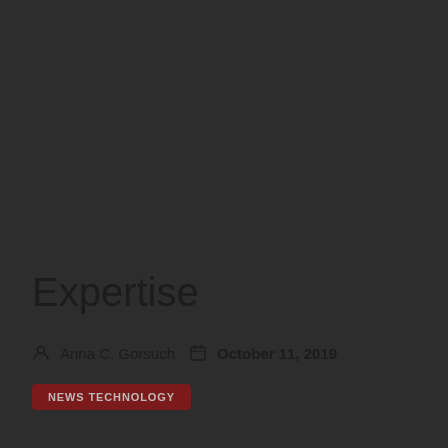Expertise
Anna C. Gorsuch   October 11, 2019
NEWS TECHNOLOGY